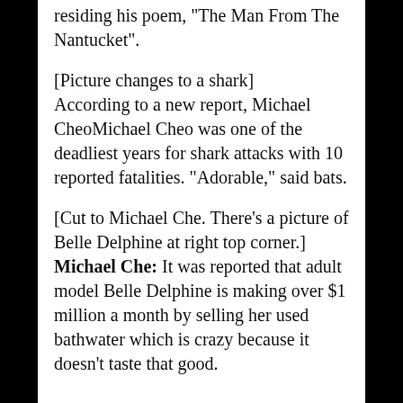residing his poem, "The Man From The Nantucket".
[Picture changes to a shark] According to a new report, Michael CheoMichael Cheo was one of the deadliest years for shark attacks with 10 reported fatalities. “Adorable,” said bats.
[Cut to Michael Che. There’s a picture of Belle Delphine at right top corner.] Michael Che: It was reported that adult model Belle Delphine is making over $1 million a month by selling her used bathwater which is crazy because it doesn’t taste that good.